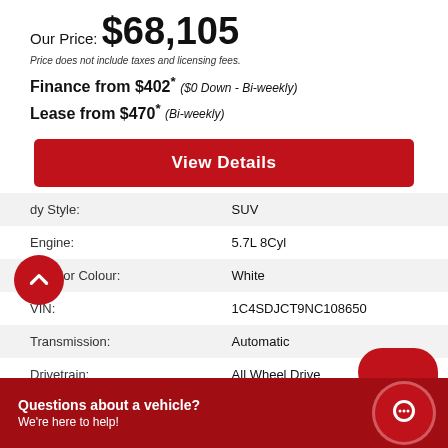Our Price: $68,105
Price does not include taxes and licensing fees.
Finance from $402* ($0 Down - Bi-weekly)
Lease from $470* (Bi-weekly)
View Details
| Attribute | Value |
| --- | --- |
| Body Style: | SUV |
| Engine: | 5.7L 8Cyl |
| Exterior Colour: | White |
| VIN: | 1C4SDJCT9NC108650 |
| Transmission: | Automatic |
| Drivetrain: | All Wheel Drive |
| Stock #: | NDR8650 |
| City: | Edmonton |
Questions about a vehicle? We're here to help!